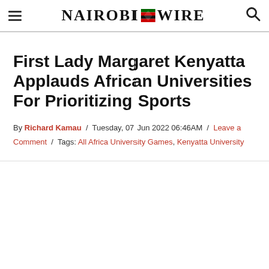Nairobi Wire
First Lady Margaret Kenyatta Applauds African Universities For Prioritizing Sports
By Richard Kamau / Tuesday, 07 Jun 2022 06:46AM / Leave a Comment / Tags: All Africa University Games, Kenyatta University